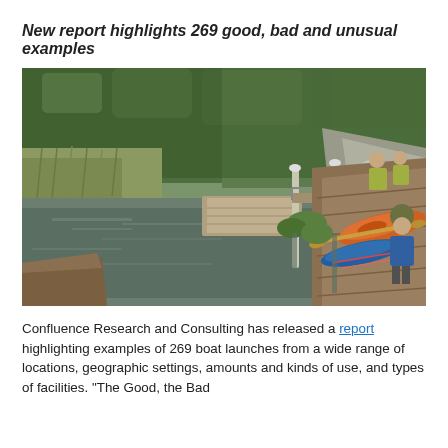New report highlights 269 good, bad and unusual examples
[Figure (photo): Outdoor kayak/canoe launch area on a river or creek. Several people are loading colorful kayaks (orange, blue) onto a wooden dock/ramp. A wooden dock extends into calm water. Lush green trees and marsh grasses are visible in the background. A rocky hillside is on the right.]
Confluence Research and Consulting has released a report highlighting examples of 269 boat launches from a wide range of locations, geographic settings, amounts and kinds of use, and types of facilities. "The Good, the Bad